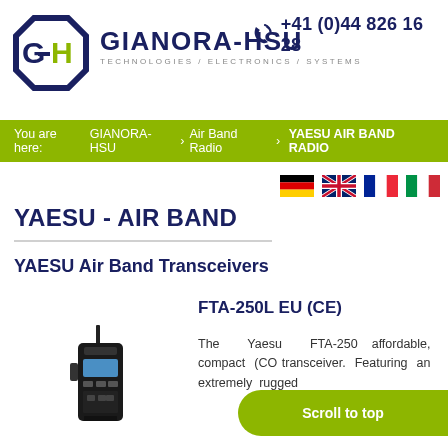[Figure (logo): Gianora-HSU logo: GH octagon mark in dark navy, company name GIANORA-HSU in dark navy with phone number +41 (0)44 826 16 28]
GIANORA-HSU TECHNOLOGIES / ELECTRONICS / SYSTEMS  +41 (0)44 826 16 28
You are here: GIANORA-HSU > Air Band Radio > YAESU AIR BAND RADIO
[Figure (other): Four country flag icons: Germany, UK, France, Italy]
YAESU - AIR BAND
YAESU Air Band Transceivers
FTA-250L EU (CE)
[Figure (photo): Photo of a Yaesu handheld air band transceiver radio]
The Yaesu FTA-250  affordable, compact (CO transceiver. Featuring an extremely rugged